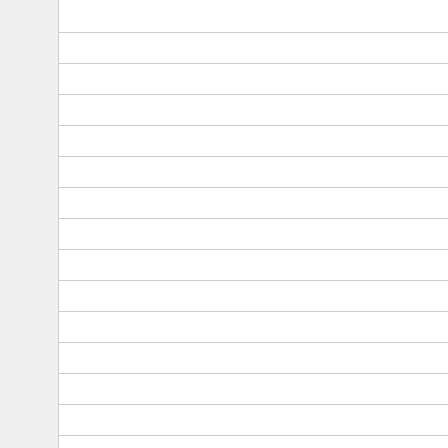| sceGxmTextureGetWidth |
| sceGxmTextureInitCube |
| sceGxmTextureInitLinear |
| sceGxmTextureInitLinearStr |
| sceGxmTextureInitSwizzle |
| sceGxmTextureInitTiled |
| sceGxmTextureSetAnisoMo |
| sceGxmTextureSetData |
| sceGxmTextureSetForma |
| sceGxmTextureSetHeigh |
| sceGxmTextureSetLodBia |
| sceGxmTextureSetMagFilt |
| sceGxmTextureSetMinFilt |
| sceGxmTextureSetMipFilt |
| sceGxmTextureSetMipmapC |
| sceGxmTextureSetStride |